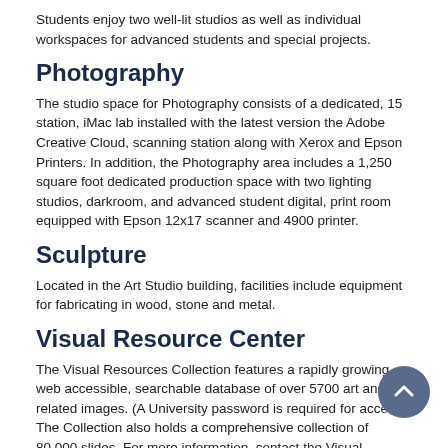Students enjoy two well-lit studios as well as individual workspaces for advanced students and special projects.
Photography
The studio space for Photography consists of a dedicated, 15 station, iMac lab installed with the latest version the Adobe Creative Cloud, scanning station along with Xerox and Epson Printers. In addition, the Photography area includes a 1,250 square foot dedicated production space with two lighting studios, darkroom, and advanced student digital, print room equipped with Epson 12x17 scanner and 4900 printer.
Sculpture
Located in the Art Studio building, facilities include equipment for fabricating in wood, stone and metal.
Visual Resource Center
The Visual Resources Collection features a rapidly growing, web accessible, searchable database of over 5700 art and art-related images. (A University password is required for access.) The Collection also holds a comprehensive collection of 80,000 slides. For more information, contact the Visual Resource